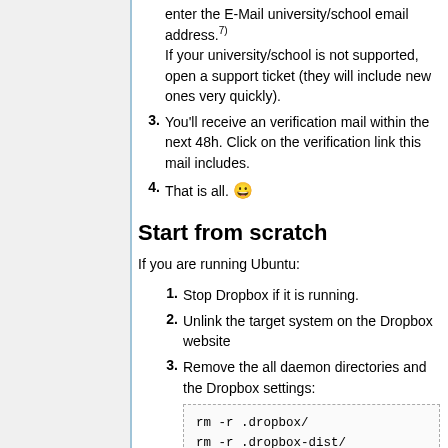enter the E-Mail university/school email address.7) If your university/school is not supported, open a support ticket (they will include new ones very quickly).
You'll receive an verification mail within the next 48h. Click on the verification link this mail includes.
That is all. 😀
Start from scratch
If you are running Ubuntu:
Stop Dropbox if it is running.
Unlink the target system on the Dropbox website
Remove the all daemon directories and the Dropbox settings: rm -r .dropbox/ rm -r .dropbox-dist/ rm -r .dropbox-dist-new/
Optional: delete your Dropbox